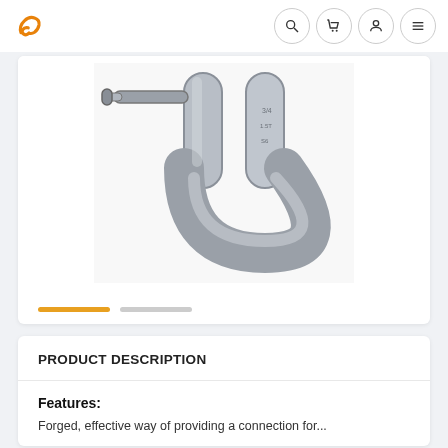Navigation header with logo and icons (search, cart, account, menu)
[Figure (photo): Close-up photograph of a galvanized steel shackle (anchor/chain shackle) showing the curved U-shaped body with embossed markings, and a pin on the left side. The shackle is metallic silver/gray in color.]
PRODUCT DESCRIPTION
Features:
Forged, effective way of providing a connection for...